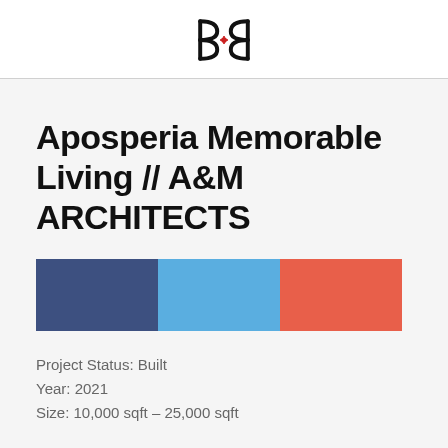BB logo (architectural firm logo)
Aposperia Memorable Living // A&M ARCHITECTS
[Figure (infographic): Three color swatches: dark navy blue, sky blue, and coral red]
Project Status: Built
Year: 2021
Size: 10,000 sqft – 25,000 sqft